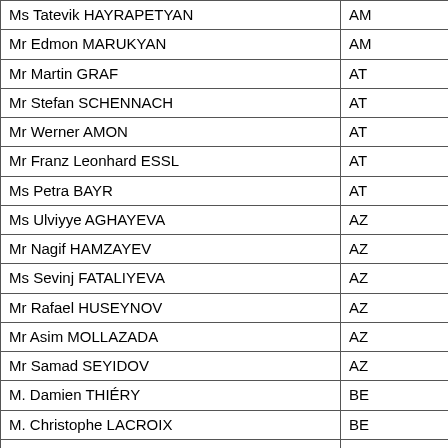| Name | Code |
| --- | --- |
| Ms Tatevik HAYRAPETYAN | AM |
| Mr Edmon MARUKYAN | AM |
| Mr Martin GRAF | AT |
| Mr Stefan SCHENNACH | AT |
| Mr Werner AMON | AT |
| Mr Franz Leonhard ESSL | AT |
| Ms Petra BAYR | AT |
| Ms Ulviyye AGHAYEVA | AZ |
| Mr Nagif HAMZAYEV | AZ |
| Ms Sevinj FATALIYEVA | AZ |
| Mr Rafael HUSEYNOV | AZ |
| Mr Asim MOLLAZADA | AZ |
| Mr Samad SEYIDOV | AZ |
| M. Damien THIÉRY | BE |
| M. Christophe LACROIX | BE |
| M. Pol Van Den DRIESSCHE | BE |
| M. Stefan VERCAMER | BE |